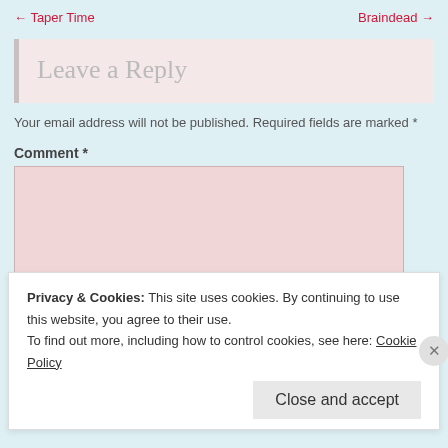← Taper Time    Braindead →
Leave a Reply
Your email address will not be published. Required fields are marked *
Comment *
Privacy & Cookies: This site uses cookies. By continuing to use this website, you agree to their use.
To find out more, including how to control cookies, see here: Cookie Policy
Close and accept